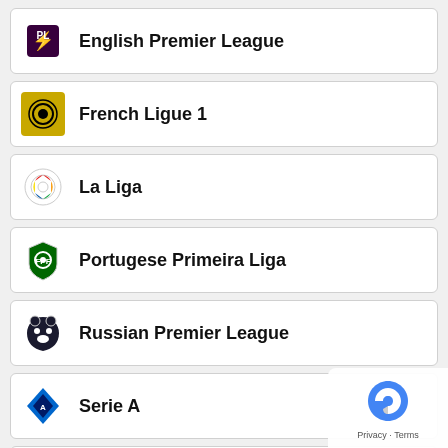English Premier League
French Ligue 1
La Liga
Portugese Primeira Liga
Russian Premier League
Serie A
Scottish Premiership
Soccer Tournament Betting Guide
COPA America
English EFL Cup